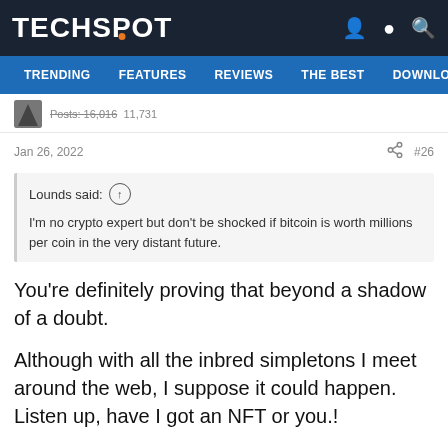TECHSPOT — TRENDING | FEATURES | REVIEWS | THE BEST | DOWNLOA
Posts: 16,810 · 11,731
Jan 26, 2022  #26
Lounds said: ↑

I'm no crypto expert but don't be shocked if bitcoin is worth millions per coin in the very distant future.
You're definitely proving that beyond a shadow of a doubt.

Although with all the inbred simpletons I meet around the web, I suppose it could happen. Listen up, have I got an NFT or you.!
sdms96825 and Beerfloat